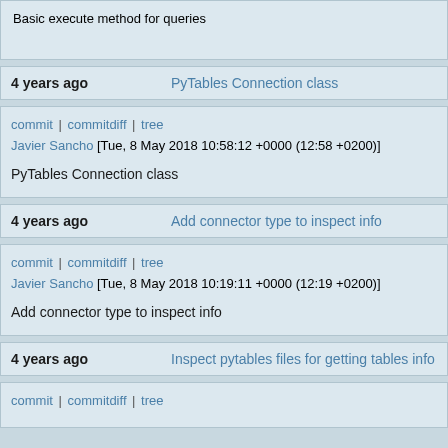Basic execute method for queries
4 years ago   PyTables Connection class
commit | commitdiff | tree
Javier Sancho [Tue, 8 May 2018 10:58:12 +0000 (12:58 +0200)]
PyTables Connection class
4 years ago   Add connector type to inspect info
commit | commitdiff | tree
Javier Sancho [Tue, 8 May 2018 10:19:11 +0000 (12:19 +0200)]
Add connector type to inspect info
4 years ago   Inspect pytables files for getting tables info
commit | commitdiff | tree